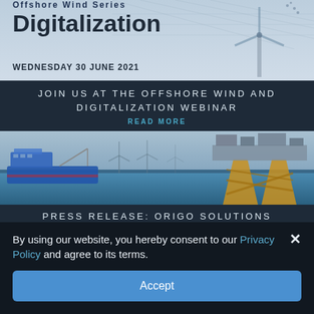[Figure (photo): Offshore Wind Series Digitalization webinar banner with wind turbine graphic and text: WEDNESDAY 30 JUNE 2021]
JOIN US AT THE OFFSHORE WIND AND DIGITALIZATION WEBINAR
READ MORE
[Figure (photo): Offshore photo showing a blue support vessel on the left and a large yellow offshore platform/jacket structure on the right, with wind turbines in the background]
PRESS RELEASE: ORIGO SOLUTIONS AWARDED LARGE AND IMPORTANT
READ MORE
By using our website, you hereby consent to our Privacy Policy and agree to its terms.
Accept